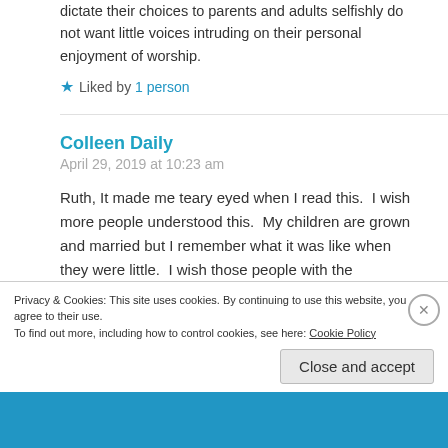dictate their choices to parents and adults selfishly do not want little voices intruding on their personal enjoyment of worship.
Liked by 1 person
Colleen Daily
April 29, 2019 at 10:23 am
Ruth, It made me teary eyed when I read this. I wish more people understood this. My children are grown and married but I remember what it was like when they were little. I wish those people with the displeased glances and dirty looks could read this! A church without children is dying!
Privacy & Cookies: This site uses cookies. By continuing to use this website, you agree to their use. To find out more, including how to control cookies, see here: Cookie Policy